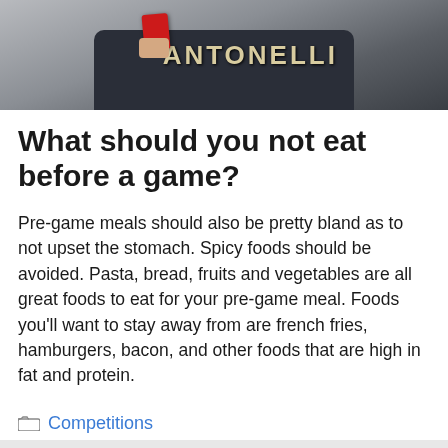[Figure (photo): Person holding a red card wearing a dark jersey with 'ANTONELLI' text on it]
What should you not eat before a game?
Pre-game meals should also be pretty bland as to not upset the stomach. Spicy foods should be avoided. Pasta, bread, fruits and vegetables are all great foods to eat for your pre-game meal. Foods you'll want to stay away from are french fries, hamburgers, bacon, and other foods that are high in fat and protein.
Competitions